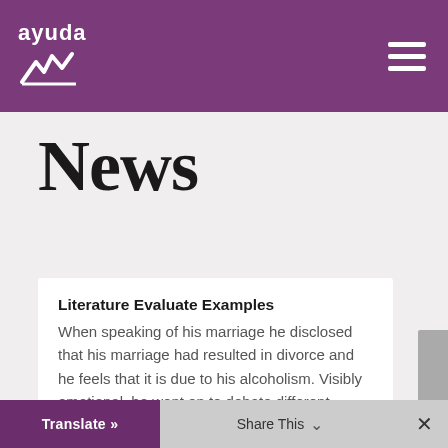ayuda [logo with hamburger menu]
News
Literature Evaluate Examples
When speaking of his marriage he disclosed that his marriage had resulted in divorce and he feels that it is due to his alcoholism. Visibly emotional, he went on to debate different significant events in his life, as a close to deadly accident in his teen years that...
Translate »   Share This   ✕